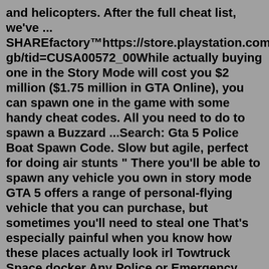and helicopters. After the full cheat list, we've ... SHAREfactory™https://store.playstation.com/#!/en-gb/tid=CUSA00572_00While actually buying one in the Story Mode will cost you $2 million ($1.75 million in GTA Online), you can spawn one in the game with some handy cheat codes. All you need to do to spawn a Buzzard ...Search: Gta 5 Police Boat Spawn Code. Slow but agile, perfect for doing air stunts " There you'll be able to spawn any vehicle you own in story mode GTA 5 offers a range of personal-flying vehicle that you can purchase, but sometimes you'll need to steal one That's especially painful when you know how these places actually look irl Towtruck Space docker Any Police or Emergency vehicle ... Jun 06, 2021 · 2 Del Perro Beach Car Park. The parking lot on Del Perro beach is along the same road as Dr.Friedlander's house and the same road where you first meet Franklin. The car park is almost directly below Del Perro Pier. If you stand and face the entrance of the Pier, it will be on the lower right-hand side. Gta 5 Spawn Boats · 17 images · gta 5 glitch b...